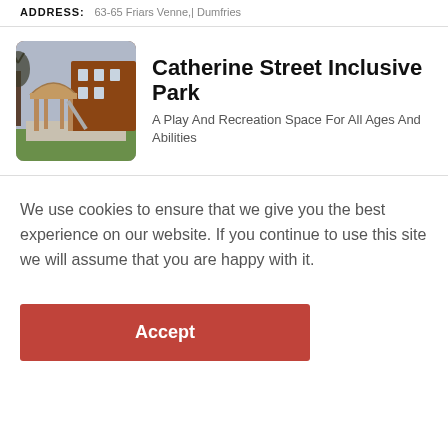ADDRESS: 63-65 Friars Venne,| Dumfries
Catherine Street Inclusive Park
A Play And Recreation Space For All Ages And Abilities
[Figure (photo): Outdoor playground structure with wooden gazebo/shelter, slide, and brick building in background, surrounded by grass and paving.]
We use cookies to ensure that we give you the best experience on our website. If you continue to use this site we will assume that you are happy with it.
Accept